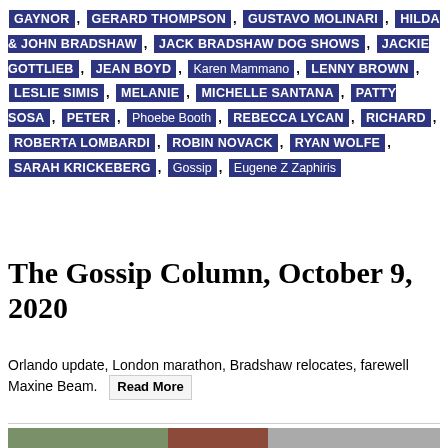GAYNOR , GERARD THOMPSON , GUSTAVO MOLINARI , HILDA & JOHN BRADSHAW , JACK BRADSHAW DOG SHOWS , JACKIE GOTTLIEB , JEAN BOYD , Karen Mammano , LENNY BROWN , LESLIE SIMIS , MELANIE , MICHELLE SANTANA , PATTY SOSA , PETER , Phoebe Booth , REBECCA LYCAN , RICHARD , ROBERTA LOMBARDI , ROBIN NOVACK , RYAN WOLFE , SARAH KRICKEBERG , Gossip , Eugene Z Zaphiris
The Gossip Column, October 9, 2020
Orlando update, London marathon, Bradshaw relocates, farewell Maxine Beam.
[Figure (photo): Partial photo at bottom of page showing outdoor scene with building exterior]